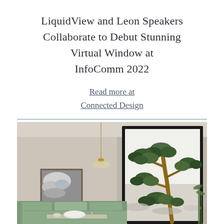LiquidView and Leon Speakers Collaborate to Debut Stunning Virtual Window at InfoComm 2022
Read more at Connected Design
[Figure (photo): Interior room scene showing a modern living room with a large virtual window display showing a Japanese pine tree against a white background, pendant light, framed artwork on wall, and green sofa with table setting in foreground.]